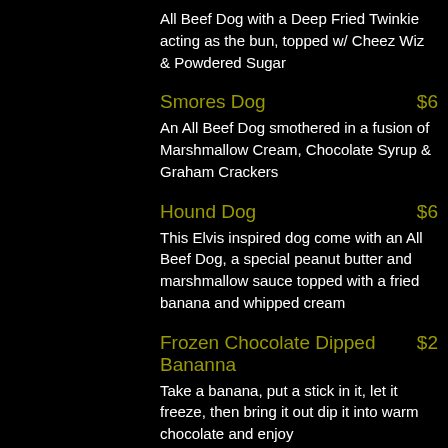All Beef Dog with a Deep Fried Twinkie acting as the bun, topped w/ Cheez Wiz & Powdered Sugar
Smores Dog $6
An All Beef Dog smothered in a fusion of Marshmallow Cream, Chocolate Syrup & Graham Crackers
Hound Dog $6
This Elvis inspired dog come with an All Beef Dog, a special peanut butter and marshmallow sauce topped with a fried banana and whipped cream
Frozen Chocolate Dipped Bananna $2
Take a banana, put a stick in it, let it freeze, then bring it out dip it into warm chocolate and enjoy